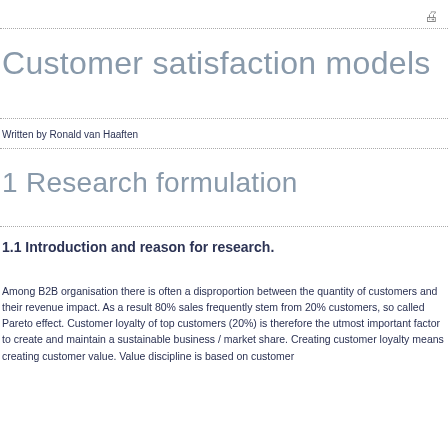Customer satisfaction models
Written by Ronald van Haaften
1 Research formulation
1.1 Introduction and reason for research.
Among B2B organisation there is often a disproportion between the quantity of customers and their revenue impact. As a result 80% sales frequently stem from 20% customers, so called Pareto effect. Customer loyalty of top customers (20%) is therefore the utmost important factor to create and maintain a sustainable business / market share. Creating customer loyalty means creating customer value. Value discipline is based on customer